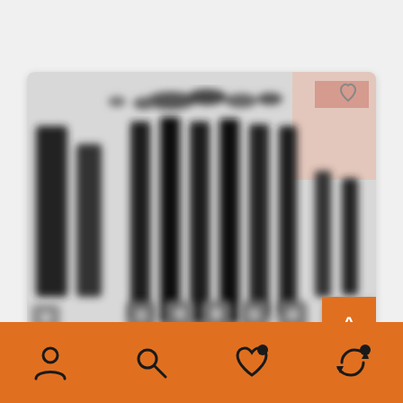[Figure (screenshot): Blurred product listing screenshot showing a barcode/tool product with black vertical bars and circular button icons arranged in a grid pattern. A heart/favorite icon appears in the top right corner. An orange up-arrow button is in the bottom right of the card.]
[Figure (screenshot): Orange bottom navigation bar with four icons: person/account icon, search/magnifying glass icon, heart/favorites icon with dark badge, and refresh/reload icon with dark badge.]